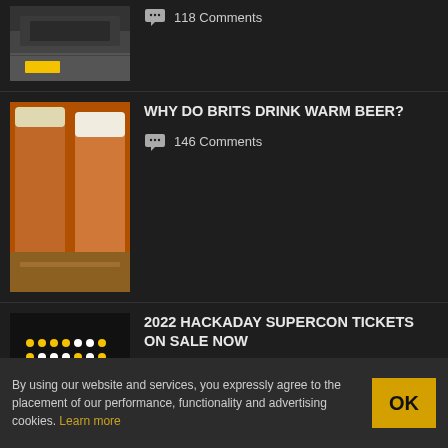118 Comments
[Figure (photo): Thumbnail of a vehicle or bus]
WHY DO BRITS DRINK WARM BEER?
146 Comments
[Figure (photo): Photo of two pints of beer]
2022 HACKADAY SUPERCON TICKETS ON SALE NOW
15 Comments
[Figure (photo): Supercon badge dot matrix design in white and yellow dots on black background]
MICROSOFT'S NEW SIMULATOR HELPS TRAIN DRONE AIS
[Figure (photo): City skyline photo]
By using our website and services, you expressly agree to the placement of our performance, functionality and advertising cookies. Learn more